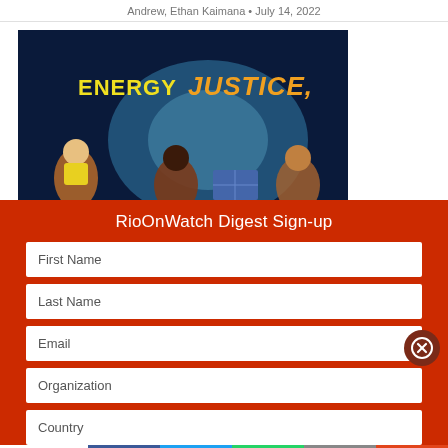Andrew, Ethan Kaimana • July 14, 2022
[Figure (screenshot): Animated illustration showing characters with text 'ENERGY JUSTICE' on a dark blue background]
RioOnWatch Digest Sign-up
First Name
Last Name
Email
Organization
Country
1 SHARES